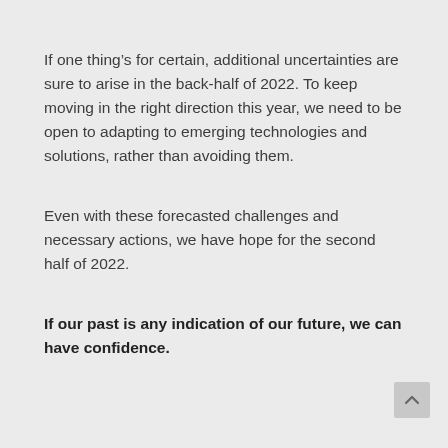If one thing's for certain, additional uncertainties are sure to arise in the back-half of 2022. To keep moving in the right direction this year, we need to be open to adapting to emerging technologies and solutions, rather than avoiding them.
Even with these forecasted challenges and necessary actions, we have hope for the second half of 2022.
If our past is any indication of our future, we can have confidence.